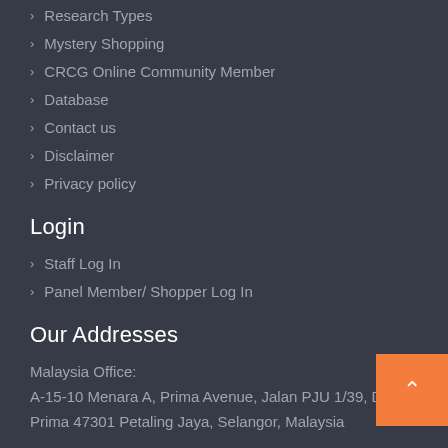> Research Types
> Mystery Shopping
> CRCG Online Community Member
> Database
> Contact us
> Disclaimer
> Privacy policy
Login
> Staff Log In
> Panel Member/ Shopper Log In
Our Addresses
Malaysia Office:
A-15-10 Menara A, Prima Avenue, Jalan PJU 1/39, D
Prima 47301 Petaling Jaya, Selangor, Malaysia